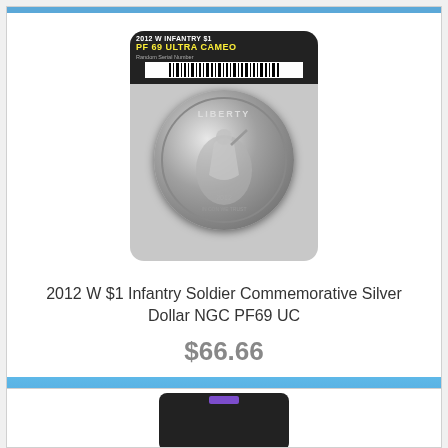[Figure (photo): NGC graded coin slab showing 2012 W Infantry $1 silver dollar, PF 69 Ultra Cameo grade label, with barcode and soldier design on coin]
2012 W $1 Infantry Soldier Commemorative Silver Dollar NGC PF69 UC
$66.66
Add to Cart
[Figure (photo): Second NGC graded coin slab, partially visible, dark background with purple stripe label]